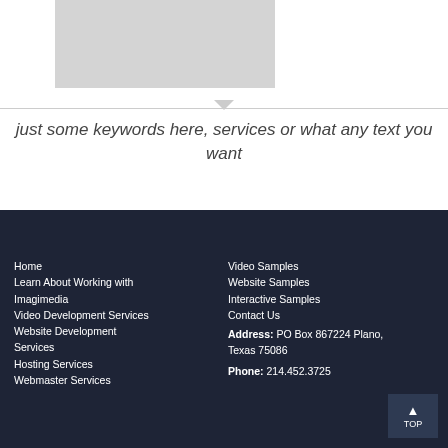[Figure (other): Gray placeholder image rectangle]
just some keywords here, services or what any text you want
Home
Learn About Working with Imagimedia
Video Development Services
Website Development Services
Hosting Services
Webmaster Services
Video Samples
Website Samples
Interactive Samples
Contact Us
Address: PO Box 867224 Plano, Texas 75086
Phone: 214.452.3725